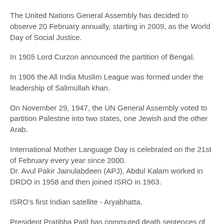The United Nations General Assembly has decided to observe 20 February annually, starting in 2009, as the World Day of Social Justice.
In 1905 Lord Curzon announced the partition of Bengal.
In 1906 the All India Muslim League was formed under the leadership of Salimullah khan.
On November 29, 1947, the UN General Assembly voted to partition Palestine into two states, one Jewish and the other Arab.
International Mother Language Day is celebrated on the 21st of February every year since 2000.
Dr. Avul Pakir Jainulabdeen (APJ), Abdul Kalam worked in DRDO in 1958 and then joined ISRO in 1963.
ISRO's first Indian satellite - Aryabhatta.
President Pratibha Patil has commuted death sentences of